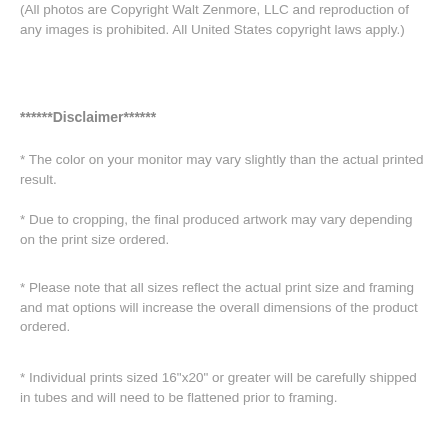(All photos are Copyright Walt Zenmore, LLC and reproduction of any images is prohibited. All United States copyright laws apply.)
******Disclaimer******
* The color on your monitor may vary slightly than the actual printed result.
* Due to cropping, the final produced artwork may vary depending on the print size ordered.
* Please note that all sizes reflect the actual print size and framing and mat options will increase the overall dimensions of the product ordered.
* Individual prints sized 16"x20" or greater will be carefully shipped in tubes and will need to be flattened prior to framing.